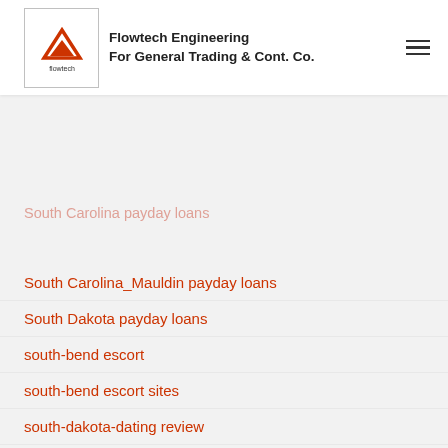Flowtech Engineering For General Trading & Cont. Co.
social-anxiety-chat-rooms review
South Carolina payday loans
South Carolina_Mauldin payday loans
South Dakota payday loans
south-bend escort
south-bend escort sites
south-dakota-dating review
spanish brides
Spanish Dating Sites support
Spanish Dating Sites tips
Spanish Dating Sites visitors
sparks escort
sparks escort index